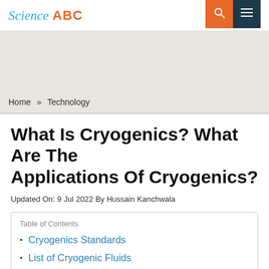Science ABC
Home » Technology
What Is Cryogenics? What Are The Applications Of Cryogenics?
Updated On: 9 Jul 2022 By Hussain Kanchwala
Table of Contents
Cryogenics Standards
List of Cryogenic Fluids